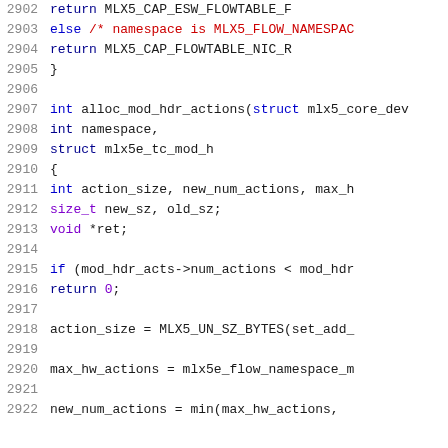[Figure (screenshot): Source code listing showing C code for alloc_mod_hdr_actions function, lines 2902-2922, with syntax highlighting in blue, purple, red, and black on white background.]